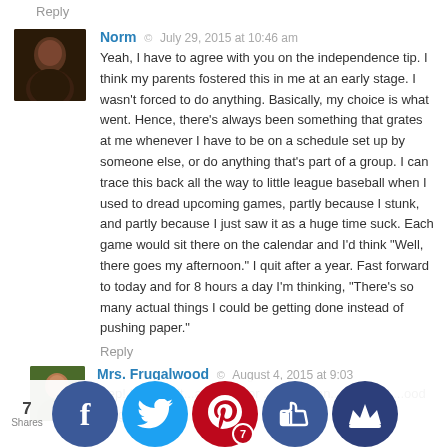Reply
Norm  ©  July 29, 2015 at 10:46 am
Yeah, I have to agree with you on the independence tip. I think my parents fostered this in me at an early stage. I wasn't forced to do anything. Basically, my choice is what went. Hence, there's always been something that grates at me whenever I have to be on a schedule set up by someone else, or do anything that's part of a group. I can trace this back all the way to little league baseball when I used to dread upcoming games, partly because I stunk, and partly because I just saw it as a huge time suck. Each game would sit there on the calendar and I'd think "Well, there goes my afternoon." I quit after a year. Fast forward to today and for 8 hours a day I'm thinking, "There's so many actual things I could be getting done instead of pushing paper."
Reply
Mrs. Frugalwood  ©  August 4, 2015 at 9:03
...ep! I c...fy wit...at, ex...t for ...soccer an...baseball ...ood thing w...both
[Figure (infographic): Social sharing bar with Facebook, Twitter, Pinterest (count: 7), Like/thumbs-up, and crown buttons. Left side shows '7 Shares'.]